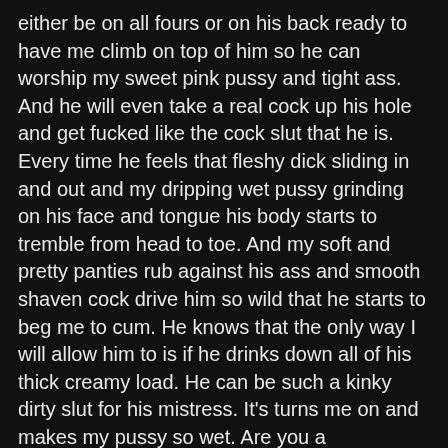either be on all fours or on his back ready to have me climb on top of him so he can worship my sweet pink pussy and tight ass. And he will even take a real cock up his hole and get fucked like the cock slut that he is. Every time he feels that fleshy dick sliding in and out and my dripping wet pussy grinding on his face and tongue his body starts to tremble from head to toe. And my soft and pretty panties rub against his ass and smooth shaven cock drive him so wild that he starts to beg me to cum. He knows that the only way I will allow him to is if he drinks down all of his thick creamy load. He can be such a kinky dirty slut for his mistress. It's turns me on and makes my pussy so wet. Are you a submissive slut who likes domination phone sex?